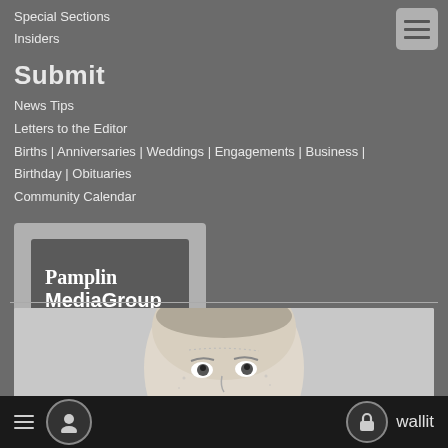Special Sections
Insiders
Submit
News Tips
Letters to the Editor
Births | Anniversaries | Weddings | Engagements | Business | Birthday | Obituaries
Community Calendar
[Figure (logo): Pamplin Media Group logo — dark speech-bubble shaped box with white bold text reading 'Pamplin MediaGroup', inside a light gray rectangular frame]
[Figure (photo): Black and white engraving-style illustration of a bald person's face, eyes looking upward, cropped at forehead and chin]
≡  👤  🔒 wallit